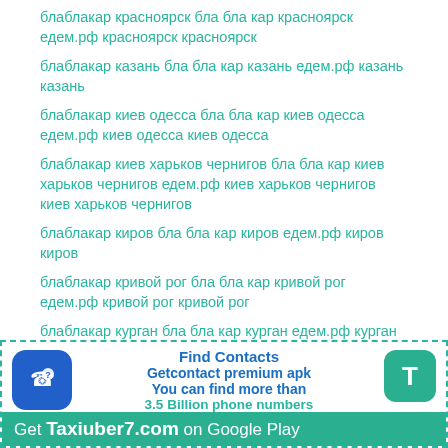блаблакар красноярск бла бла кар красноярск едем.рф красноярск красноярск
блаблакар казань бла бла кар казань едем.рф казань казань
блаблакар киев одесса бла бла кар киев одесса едем.рф киев одесса киев одесса
блаблакар киев харьков чернигов бла бла кар киев харьков чернигов едем.рф киев харьков чернигов киев харьков чернигов
блаблакар киров бла бла кар киров едем.рф киров киров
блаблакар кривой рог бла бла кар кривой рог едем.рф кривой рог кривой рог
блаблакар курган бла бла кар курган едем.рф курган курган
блаблакар казань бла бла кар казань едем.рф казань казань
[Figure (infographic): App advertisement banner for Getcontact/Taxiuber7.com with phone icon, T icon, text 'Find Contacts Getcontact premium apk You can find more than 3.5 Billion phone numbers' and footer 'Get Taxiuber7.com on Google Play']